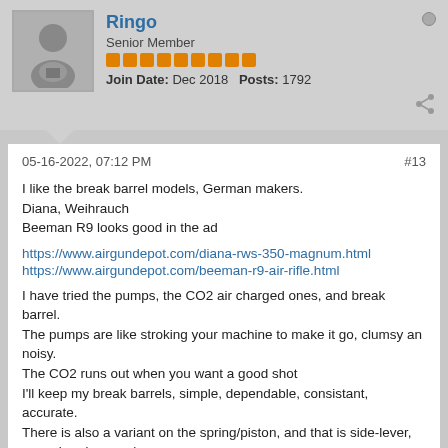Ringo
Senior Member
Join Date: Dec 2018   Posts: 1792
05-16-2022, 07:12 PM
#13
I like the break barrel models, German makers.
Diana, Weihrauch
Beeman R9 looks good in the ad
https://www.airgundepot.com/diana-rws-350-magnum.html
https://www.airgundepot.com/beeman-r9-air-rifle.html
I have tried the pumps, the CO2 air charged ones, and break barrel.
The pumps are like stroking your machine to make it go, clumsy an noisy.
The CO2 runs out when you want a good shot
I'll keep my break barrels, simple, dependable, consistant, accurate.
There is also a variant on the spring/piston, and that is side-lever, very nice. (german)
Doc Nickel
Senior Member